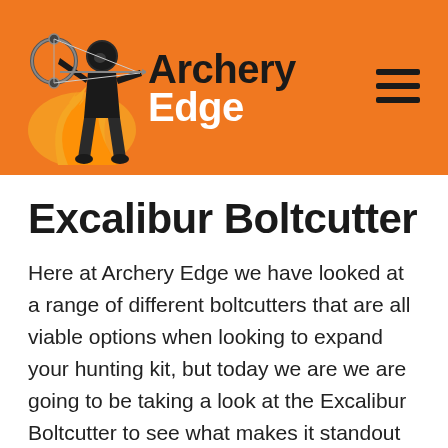Archery Edge
Excalibur Boltcutter
Here at Archery Edge we have looked at a range of different boltcutters that are all viable options when looking to expand your hunting kit, but today we are we are going to be taking a look at the Excalibur Boltcutter to see what makes it standout against the rest.